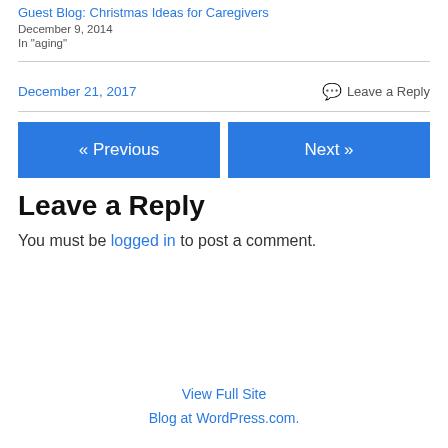Guest Blog: Christmas Ideas for Caregivers
December 9, 2014
In "aging"
December 21, 2017
Leave a Reply
« Previous
Next »
Leave a Reply
You must be logged in to post a comment.
View Full Site
Blog at WordPress.com.